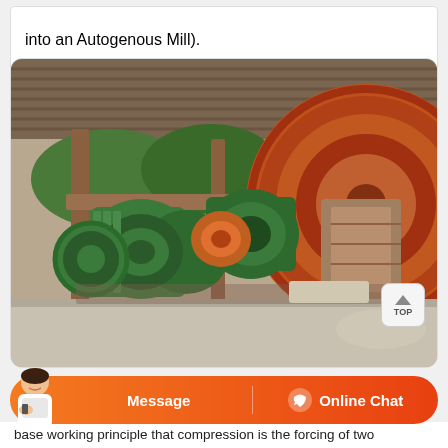into an Autogenous Mill).
[Figure (photo): Industrial ball mill / autogenous mill machinery photographed outdoors under a corrugated metal roof. Shows large green cylindrical motor/reducer assembly, orange/red large gear wheel on the right, green gears and mechanical components, all mounted on concrete and steel frame supports.]
base working principle that compression is the forcing of two